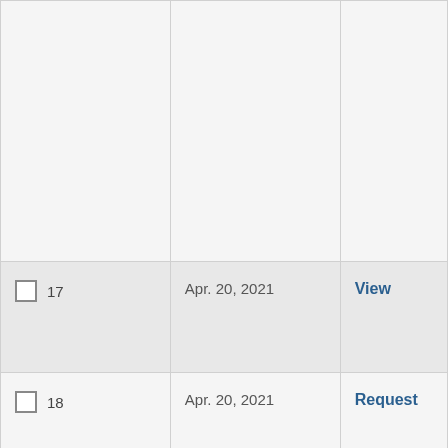|  | Date | Action |
| --- | --- | --- |
|  |  |  |
| 17 | Apr. 20, 2021 | View |
| 18 | Apr. 20, 2021 | Request |